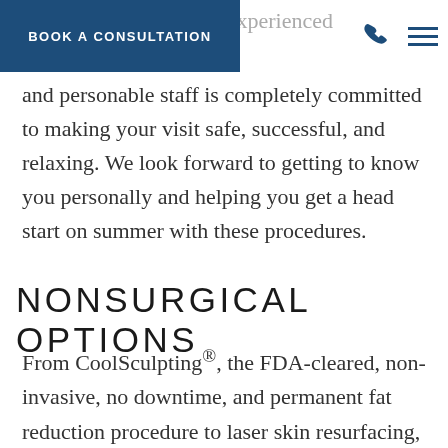BOOK A CONSULTATION
and personable staff is completely committed to making your visit safe, successful, and relaxing. We look forward to getting to know you personally and helping you get a head start on summer with these procedures.
NONSURGICAL OPTIONS
From CoolSculpting®, the FDA-cleared, non-invasive, no downtime, and permanent fat reduction procedure to laser skin resurfacing, we offer a variety of non-invasive procedures to help